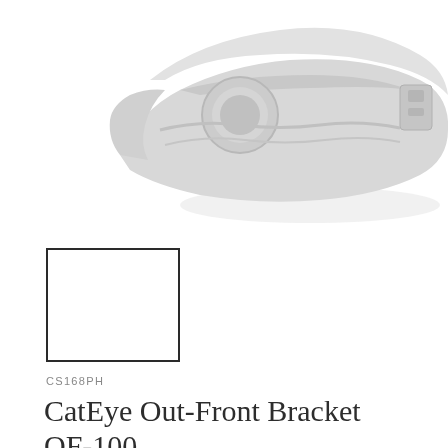[Figure (photo): Product photo of CatEye Out-Front Bracket OF-100, a light gray plastic bicycle mount/bracket accessory shown on white background, viewed from above at slight angle]
[Figure (photo): Small thumbnail image placeholder box (empty white square with dark border)]
CS168PH
CatEye Out-Front Bracket OF-100
₱520.00